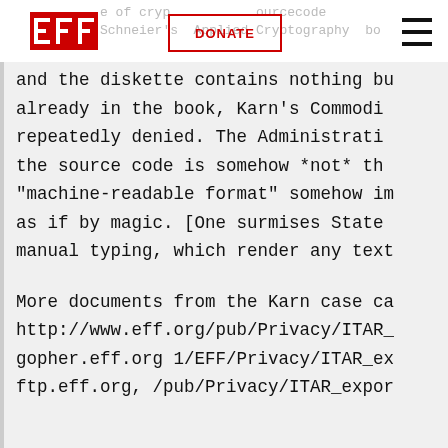EFF | DONATE | [menu] | ...use of cryptography sourcecode Schneier's Applied Cryptography bo
and the diskette contains nothing bu already in the book,  Karn's Commodi repeatedly denied.  The Administrati the source  code is somehow *not* th "machine-readable format" somehow im as if by magic.  [One surmises State manual typing, which render any text
More documents from the Karn case ca http://www.eff.org/pub/Privacy/ITAR_ gopher.eff.org 1/EFF/Privacy/ITAR_ex ftp.eff.org, /pub/Privacy/ITAR_expor